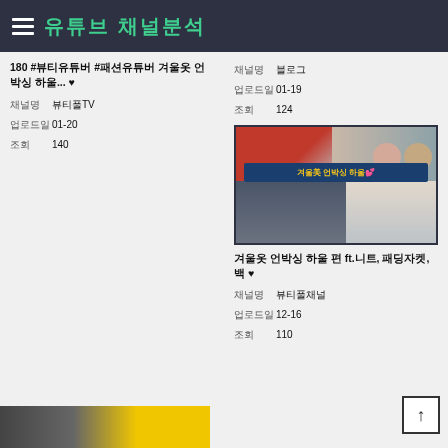유튜브 채널분석
180 #뷰티유튜버 #패션유튜버 겨울옷 언박싱 하울... ♥
채널명: 뷰티풀TV
업로드일: 01-20
조회: 140
채널명: 블로그
업로드일: 01-19
조회: 124
[Figure (photo): Thumbnail of a YouTube video showing young women with winter clothing items; overlay text reads 겨울美 언박싱 하울💕]
겨울옷 언박싱 하울 편 ft.니트, 패딩자켓, 백 ♥
채널명: 뷰티풀채널
업로드일: 12-16
조회: 110
[Figure (photo): Bottom thumbnail partially visible with yellow background]
↑ (back to top button)